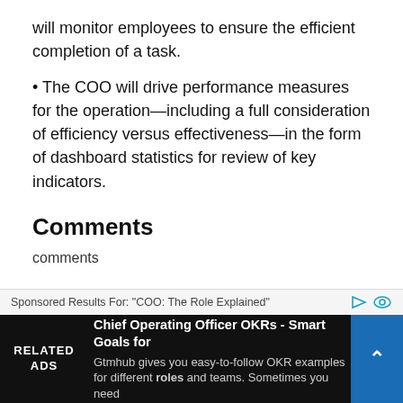will monitor employees to ensure the efficient completion of a task.
• The COO will drive performance measures for the operation—including a full consideration of efficiency versus effectiveness—in the form of dashboard statistics for review of key indicators.
Comments
comments
Sponsored Results For: "COO: The Role Explained"
RELATED ADS
Chief Operating Officer OKRs - Smart Goals for
Gtmhub gives you easy-to-follow OKR examples for different roles and teams. Sometimes you need